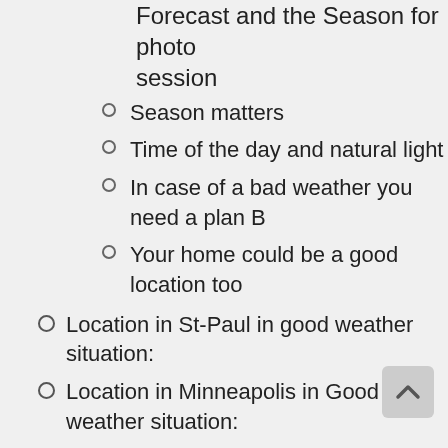Forecast and the Season for photo session
Season matters
Time of the day and natural light
In case of a bad weather you need a plan B
Your home could be a good location too
Location in St-Paul in good weather situation:
Location in Minneapolis in Good weather situation:
Around the Twin-Cities:
Covered Location for photo shooting on the Twin-Cities that work for good and bad weather condition:
You can go out of Minnesota for you photo